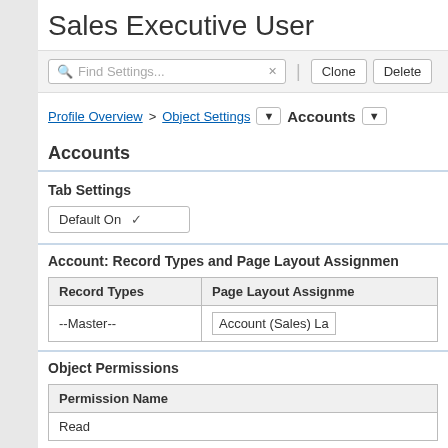Sales Executive User
[Figure (screenshot): Toolbar with Find Settings search box, Clone and Delete buttons]
Profile Overview > Object Settings ▼ Accounts ▼
Accounts
Tab Settings
Default On ✓
Account: Record Types and Page Layout Assignmen
| Record Types | Page Layout Assignme |
| --- | --- |
| --Master-- | Account (Sales) La |
Object Permissions
| Permission Name |
| --- |
| Read |